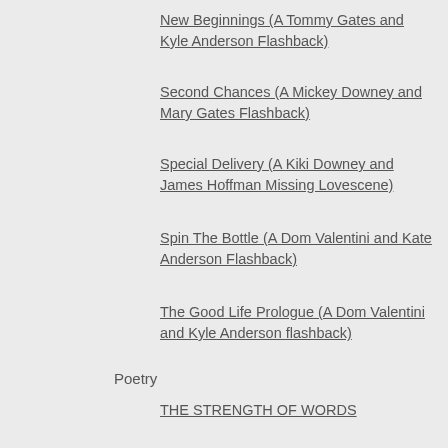New Beginnings (A Tommy Gates and Kyle Anderson Flashback)
Second Chances (A Mickey Downey and Mary Gates Flashback)
Special Delivery (A Kiki Downey and James Hoffman Missing Lovescene)
Spin The Bottle (A Dom Valentini and Kate Anderson Flashback)
The Good Life Prologue (A Dom Valentini and Kyle Anderson flashback)
Poetry
THE STRENGTH OF WORDS
WE COULD PRETEND
YOU MAKE ME THINK FAULKNERIAN THOUGHTS